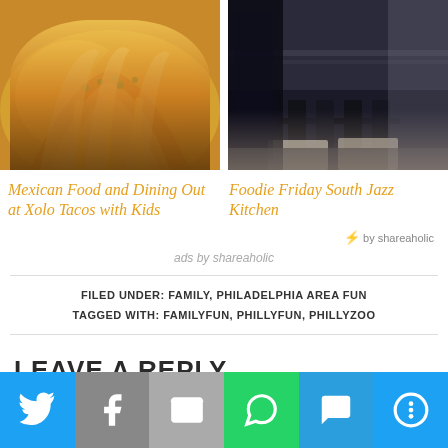[Figure (photo): Photo of Mexican tacos with melted cheese and toppings on white plate]
[Figure (photo): Photo of restaurant interior with dark chairs and tables]
Mexican Food and Dining Out at Xolo Tacos with Kids
Foodie Friday South Jazz Kitchen
⚡ by shareaholic
ads by shareaholic
FILED UNDER: FAMILY, PHILADELPHIA AREA FUN
TAGGED WITH: FAMILYFUN, PHILLYFUN, PHILLYZOO
LEAVE A REPLY